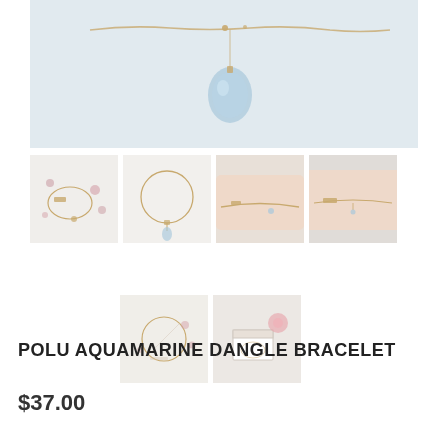[Figure (photo): Close-up main product image of the Polu Aquamarine Dangle Bracelet showing a delicate gold chain bracelet with a light blue aquamarine gemstone pendant, on a white textured background.]
[Figure (photo): Thumbnail 1: Gold bracelet with small gem pendant and scattered pink beads on white surface.]
[Figure (photo): Thumbnail 2: Circle/hoop style gold bracelet with dangle charm on white background.]
[Figure (photo): Thumbnail 3: Bracelet shown on a person's wrist.]
[Figure (photo): Thumbnail 4: Close-up of bracelet on wrist with gold bar detail.]
[Figure (photo): Thumbnail 5: Flat lay of multiple bracelets and accessories on white surface.]
[Figure (photo): Thumbnail 6: Bracelet in gift box packaging with pink flower decoration.]
POLU AQUAMARINE DANGLE BRACELET
$37.00